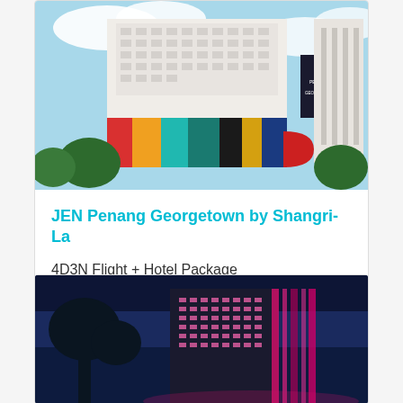[Figure (photo): JEN Penang Georgetown by Shangri-La hotel building exterior with colorful mural art]
JEN Penang Georgetown by Shangri-La
4D3N Flight + Hotel Package from IDR5,054,279 All-in per pax
[Figure (photo): Hotel building at night with pink/purple lighting against dark blue sky]